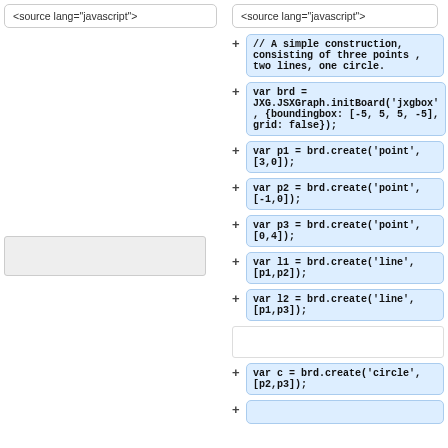<source lang="javascript">
<source lang="javascript">
// A simple construction, consisting of three points , two lines, one circle.
var brd = JXG.JSXGraph.initBoard('jxgbox', {boundingbox: [-5, 5, 5, -5], grid: false});
var p1 = brd.create('point',[3,0]);
var p2 = brd.create('point',[-1,0]);
var p3 = brd.create('point',[0,4]);
var l1 = brd.create('line',[p1,p2]);
var l2 = brd.create('line',[p1,p3]);
var c = brd.create('circle', [p2,p3]);